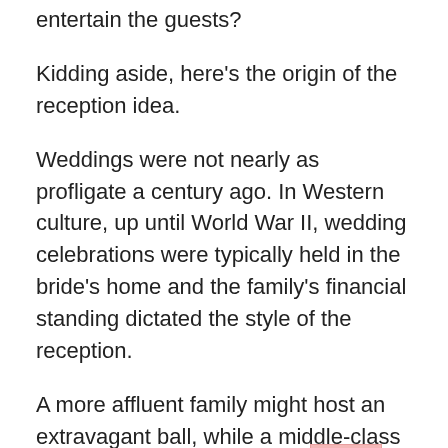entertain the guests?
Kidding aside, here's the origin of the reception idea.
Weddings were not nearly as profligate a century ago. In Western culture, up until World War II, wedding celebrations were typically held in the bride's home and the family's financial standing dictated the style of the reception.
A more affluent family might host an extravagant ball, while a middle-class family might host an afternoon luncheon and tea.
Around the turn of the century dance halls became